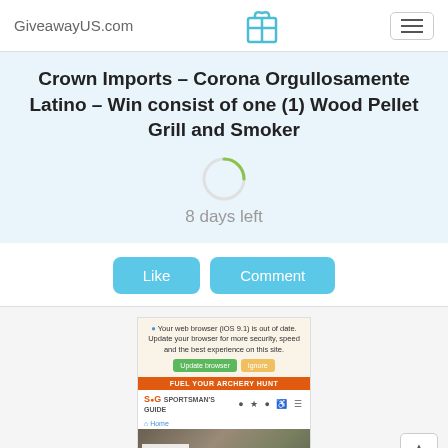GiveawayUS.com
Crown Imports – Corona Orgullosamente Latino – Win consist of one (1) Wood Pellet Grill and Smoker
8 days left
Like
Comment
[Figure (screenshot): An embedded ad screenshot showing a browser update warning for iOS 9.1, an orange bar reading FUEL YOUR ARCHERY HUNT, a Sportsman's Guide website header with navigation icons, a Home breadcrumb, and the beginning of an archery giveaway image.]
Top